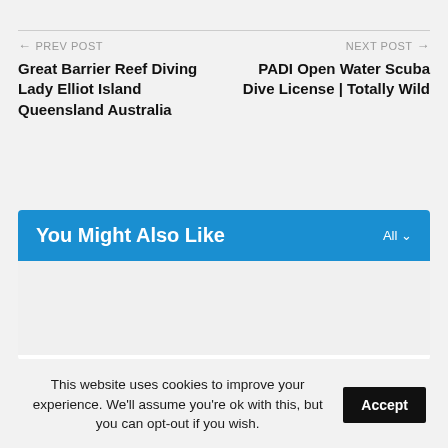← PREV POST
Great Barrier Reef Diving Lady Elliot Island Queensland Australia
NEXT POST →
PADI Open Water Scuba Dive License | Totally Wild
You Might Also Like   All ∨
This website uses cookies to improve your experience. We'll assume you're ok with this, but you can opt-out if you wish. Accept